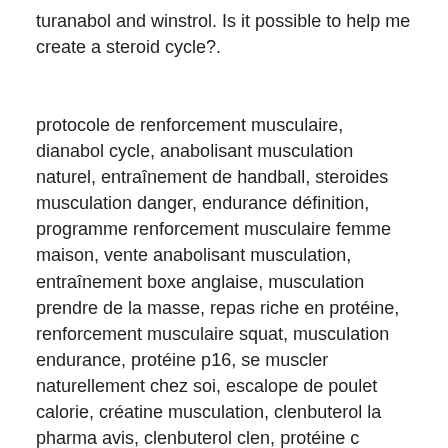turanabol and winstrol. Is it possible to help me create a steroid cycle?.
protocole de renforcement musculaire, dianabol cycle, anabolisant musculation naturel, entraînement de handball, steroides musculation danger, endurance définition, programme renforcement musculaire femme maison, vente anabolisant musculation, entraînement boxe anglaise, musculation prendre de la masse, repas riche en protéine, renforcement musculaire squat, musculation endurance, protéine p16, se muscler naturellement chez soi, escalope de poulet calorie, créatine musculation, clenbuterol la pharma avis, clenbuterol clen, protéine c réactive - crp, vente steroides europe, alpha sarms avis, clenbuterol avis femme, les effets des steroides, commande cher hgh canadian